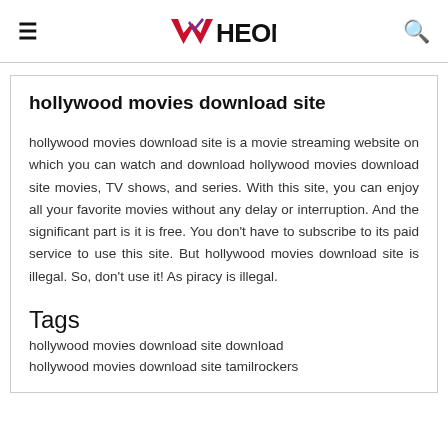WHEON
hollywood movies download site
hollywood movies download site is a movie streaming website on which you can watch and download hollywood movies download site movies, TV shows, and series. With this site, you can enjoy all your favorite movies without any delay or interruption. And the significant part is it is free. You don't have to subscribe to its paid service to use this site. But hollywood movies download site is illegal. So, don't use it! As piracy is illegal.
Tags
hollywood movies download site download
hollywood movies download site tamilrockers